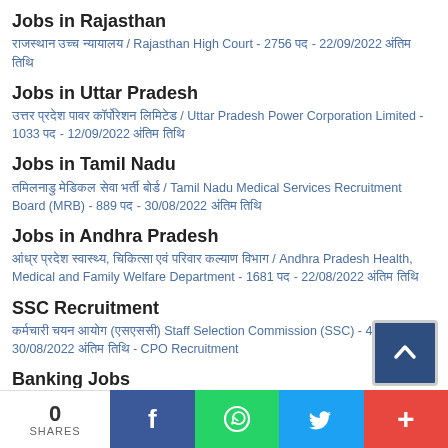Jobs in Rajasthan
राजस्थान उच्च न्यायालय / Rajasthan High Court - 2756 पद - 22/09/2022 अंतिम तिथि
Jobs in Uttar Pradesh
उत्तर प्रदेश पावर कॉर्पोरेशन लिमिटेड / Uttar Pradesh Power Corporation Limited - 1033 पद - 12/09/2022 अंतिम तिथि
Jobs in Tamil Nadu
तमिलनाडु मेडिकल सेवा भर्ती बोर्ड / Tamil Nadu Medical Services Recruitment Board (MRB) - 889 पद - 30/08/2022 अंतिम तिथि
Jobs in Andhra Pradesh
आंध्र प्रदेश स्वास्थ्य, चिकित्सा एवं परिवार कल्याण विभाग / Andhra Pradesh Health, Medical and Family Welfare Department - 1681 पद - 22/08/2022 अंतिम तिथि
SSC Recruitment
कर्मचारी चयन आयोग (एसएससी) Staff Selection Commission (SSC) - 4300 पद - 30/08/2022 अंतिम तिथि - CPO Recruitment
Banking Jobs
बैंकिंग कार्मिक चयन संस्थान Institute of Banking Personnel Selection(IBPS) - 6432 पद - 22/08/2022 अंतिम तिथि
बैंकिंग कार्मिक चयन संस्थान Institute of Banking Personnel Selection - 7855 पद - 29/07/2022 अंतिम तिथि
0 SHARES | Facebook | WhatsApp | Twitter | More